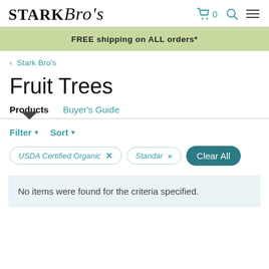Stark Bro's | Cart: 0
FREE shipping on ALL orders*
< Stark Bro's
Fruit Trees
Products  Buyer's Guide
Filter ▾   Sort ▾
USDA Certified Organic ×  Standar »  Clear All
No items were found for the criteria specified.